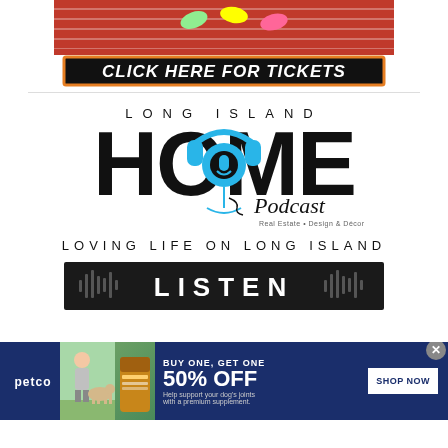[Figure (screenshot): Advertisement banner showing athletic track at top, with 'CLICK HERE FOR TICKETS' button in black with orange border]
[Figure (logo): Long Island HOME Podcast logo with headphones incorporated into HOME lettering, tagline 'LOVING LIFE ON LONG ISLAND', Real Estate Design & Decor, with a LISTEN bar below in dark background with soundwave graphics]
[Figure (screenshot): Petco advertisement banner: BUY ONE, GET ONE 50% OFF, Help support your dog's joints with a premium supplement. SHOP NOW button. Shows woman with dog and supplement product.]